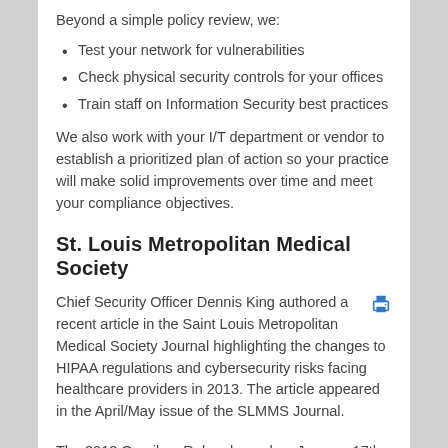Beyond a simple policy review, we:
Test your network for vulnerabilities
Check physical security controls for your offices
Train staff on Information Security best practices
We also work with your I/T department or vendor to establish a prioritized plan of action so your practice will make solid improvements over time and meet your compliance objectives.
St. Louis Metropolitan Medical Society
Chief Security Officer Dennis King authored a recent article in the Saint Louis Metropolitan Medical Society Journal highlighting the changes to HIPAA regulations and cybersecurity risks facing healthcare providers in 2013. The article appeared in the April/May issue of the SLMMS Journal.
The 2013 Omnibus Rule released on January 17th is the next step in over 16 years of protected healthcare information (PHI) regulation. With this update, also known as the “Final Rule,” the